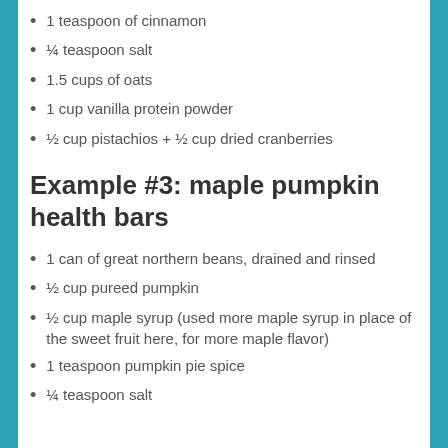1 teaspoon of cinnamon
¼ teaspoon salt
1.5 cups of oats
1 cup vanilla protein powder
½ cup pistachios + ½ cup dried cranberries
Example #3: maple pumpkin health bars
1 can of great northern beans, drained and rinsed
½ cup pureed pumpkin
½ cup maple syrup (used more maple syrup in place of the sweet fruit here, for more maple flavor)
1 teaspoon pumpkin pie spice
¼ teaspoon salt